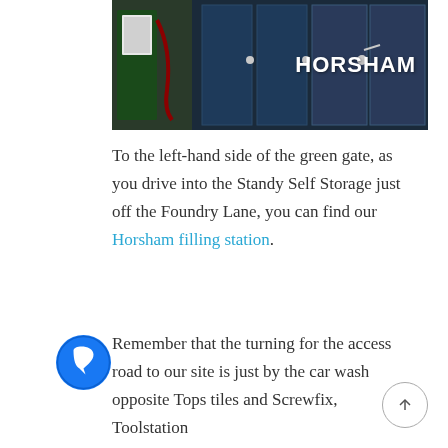[Figure (photo): Photo of industrial/storage equipment with dark blue shipping containers or lockers in the background. White text overlay reads 'HORSHAM' in bold.]
To the left-hand side of the green gate, as you drive into the Standy Self Storage just off the Foundry Lane, you can find our Horsham filling station.
Remember that the turning for the access road to our site is just by the car wash opposite Tops tiles and Screwfix, Toolstation